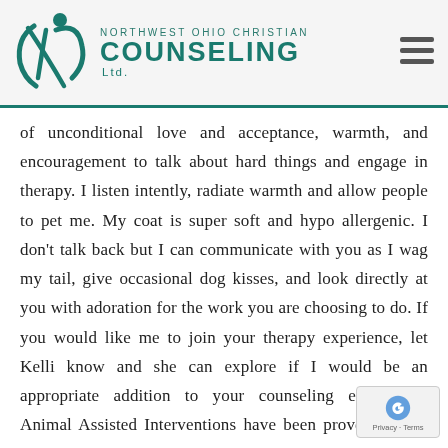[Figure (logo): Northwest Ohio Christian Counseling Ltd. logo with teal figure graphic and hamburger menu icon]
of unconditional love and acceptance, warmth, and encouragement to talk about hard things and engage in therapy. I listen intently, radiate warmth and allow people to pet me. My coat is super soft and hypo allergenic. I don't talk back but I can communicate with you as I wag my tail, give occasional dog kisses, and look directly at you with adoration for the work you are choosing to do. If you would like me to join your therapy experience, let Kelli know and she can explore if I would be an appropriate addition to your counseling experience. Animal Assisted Interventions have been proven helpful in: